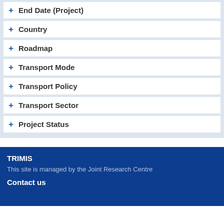+ End Date (Project)
+ Country
+ Roadmap
+ Transport Mode
+ Transport Policy
+ Transport Sector
+ Project Status
TRIMIS
This site is managed by the Joint Research Centre
Contact us